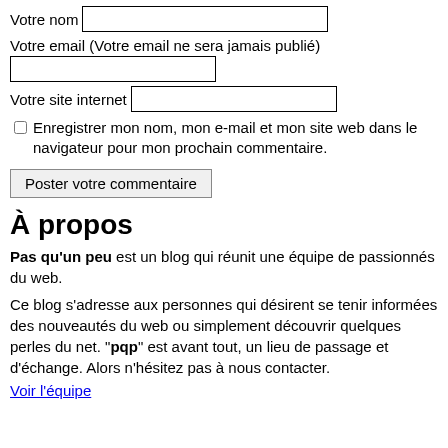Votre nom [input field]
Votre email (Votre email ne sera jamais publié) [input field]
Votre site internet [input field]
☐ Enregistrer mon nom, mon e-mail et mon site web dans le navigateur pour mon prochain commentaire.
Poster votre commentaire
À propos
Pas qu'un peu est un blog qui réunit une équipe de passionnés du web.
Ce blog s'adresse aux personnes qui désirent se tenir informées des nouveautés du web ou simplement découvrir quelques perles du net. "pqp" est avant tout, un lieu de passage et d'échange. Alors n'hésitez pas à nous contacter.
Voir l'équipe